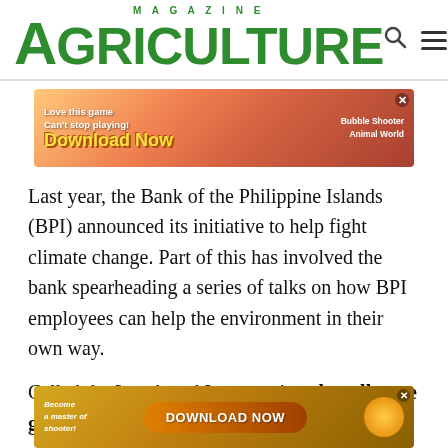MAGAZINE AGRICULTURE
[Figure (screenshot): Mobile game advertisement banner: 'Love this game Can't stop playing! Download Now — Bubble Shooter Animal World']
Last year, the Bank of the Philippine Islands (BPI) announced its initiative to help fight climate change. Part of this has involved the bank spearheading a series of talks on how BPI employees can help the environment in their own way.
Called the Lunch and Learn series, the talks are geared wards sustainable issues. "We are trying to reach out to
[Figure (screenshot): Mobile game advertisement banner: 'Become a master of shooter! DOWNLOAD NOW']